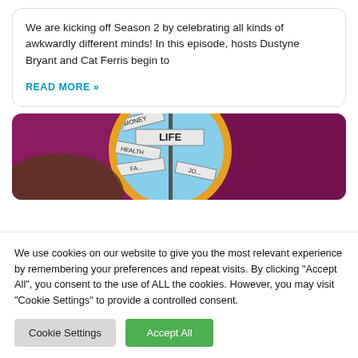We are kicking off Season 2 by celebrating all kinds of awkwardly different minds! In this episode, hosts Dustyne Bryant and Cat Ferris begin to
READ MORE »
[Figure (photo): A person holding a magnifying glass showing a road sign post with directional signs labeled LIFE, MONEY, HEALTH, FAMILY, JOB against a purple/maroon background.]
We use cookies on our website to give you the most relevant experience by remembering your preferences and repeat visits. By clicking "Accept All", you consent to the use of ALL the cookies. However, you may visit "Cookie Settings" to provide a controlled consent.